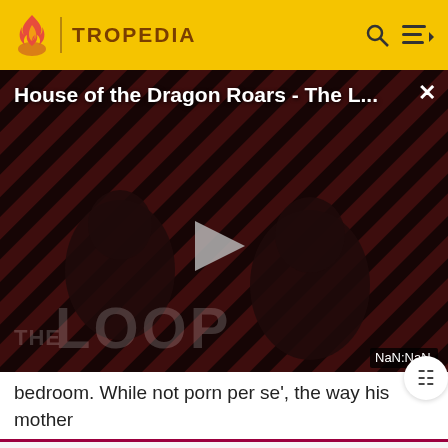TROPEDIA
[Figure (screenshot): Video player showing 'House of the Dragon Roars - The L...' with a play button overlay, dark background with diagonal red/dark stripes, two silhouetted figures, 'THE LOOP' text watermark, and 'NaN:NaN' timestamp badge. A close (X) button is in the top right.]
bedroom. While not porn per se', the way his mother
Before making a single edit, Tropedia EXPECTS our site policy and manual of style to be followed. Failure to do so may
READ MORE